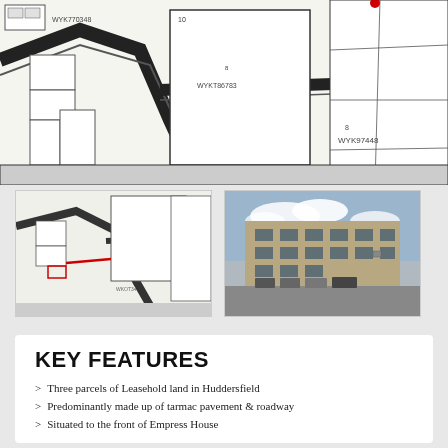[Figure (map): Cadastral/land registry map showing plot boundaries and parcel identifiers including WYK770348, WYKT86783, WYK97448. Bold black boundary lines indicating roads and property parcels on a white background. A red marker dot visible at the top.]
[Figure (map): Smaller cadastral map thumbnail showing the same area with red highlighted boundary lines indicating the leasehold parcels of land.]
[Figure (photo): Photograph of Empress House, a multi-storey commercial/industrial building with large windows, vehicles parked in front, under a partly cloudy sky.]
KEY FEATURES
Three parcels of Leasehold land in Huddersfield
Predominantly made up of tarmac pavement & roadway
Situated to the front of Empress House